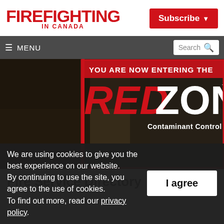FIREFighting IN CANADA
Subscribe
≡ MENU   Search
[Figure (photo): Red Zone Contaminant Control Package advertisement banner with text 'YOU ARE NOW ENTERING THE RED ZONE TM Contaminant Control Package' over background of firefighters in gear]
Fire Service Directory
We are using cookies to give you the best experience on our website. By continuing to use the site, you agree to the use of cookies. To find out more, read our privacy policy.
I agree